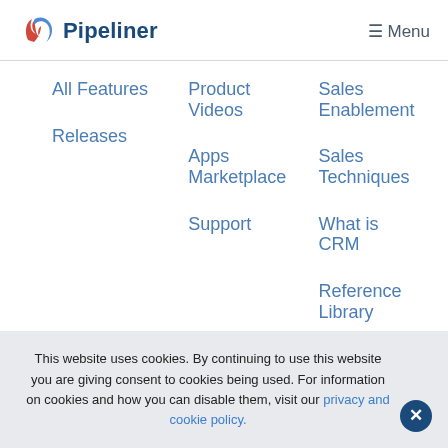Pipeliner | Menu
All Features
Releases
Product Videos
Apps Marketplace
Support
Sales Enablement
Sales Techniques
What is CRM
Reference Library
This website uses cookies. By continuing to use this website you are giving consent to cookies being used. For information on cookies and how you can disable them, visit our privacy and cookie policy.